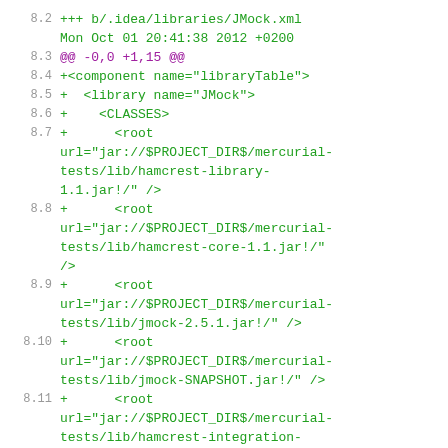8.2  +++ b/.idea/libraries/JMock.xml
     Mon Oct 01 20:41:38 2012 +0200
8.3  @@ -0,0 +1,15 @@
8.4  +<component name="libraryTable">
8.5  +  <library name="JMock">
8.6  +    <CLASSES>
8.7  +      <root url="jar://$PROJECT_DIR$/mercurial-tests/lib/hamcrest-library-1.1.jar!/" />
8.8  +      <root url="jar://$PROJECT_DIR$/mercurial-tests/lib/hamcrest-core-1.1.jar!/" />
8.9  +      <root url="jar://$PROJECT_DIR$/mercurial-tests/lib/jmock-2.5.1.jar!/" />
8.10 +      <root url="jar://$PROJECT_DIR$/mercurial-tests/lib/jmock-SNAPSHOT.jar!/" />
8.11 +      <root url="jar://$PROJECT_DIR$/mercurial-tests/lib/hamcrest-integration-1.1.jar!/" />
8.12 +    </CLASSES>
8.13 +    <JAVADOC />
8.14 +    <SOURCES>
8.15 +      <root url="jar://$PROJECT_DIR$/mercurial-tests/lib/hamcrest-integration-